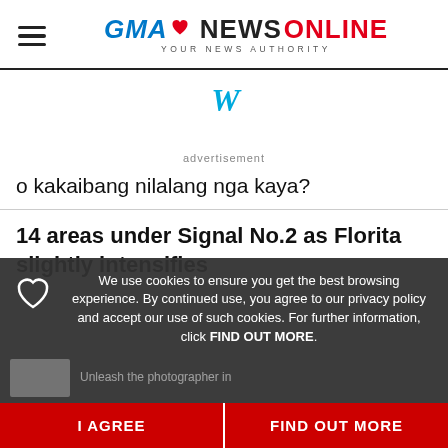GMA NEWS ONLINE — YOUR NEWS AUTHORITY
[Figure (logo): GMA News Online logo with heart icon and tagline YOUR NEWS AUTHORITY]
[Figure (other): Advertisement placeholder with W icon]
advertisement
o kakaibang nilalang nga kaya?
14 areas under Signal No.2 as Florita slightly intensifies
We use cookies to ensure you get the best browsing experience. By continued use, you agree to our privacy policy and accept our use of such cookies. For further information, click FIND OUT MORE.
I AGREE
FIND OUT MORE